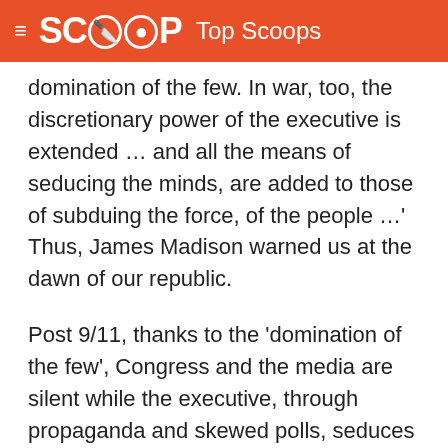≡ SCOOP Top Scoops
domination of the few. In war, too, the discretionary power of the executive is extended … and all the means of seducing the minds, are added to those of subduing the force, of the people …' Thus, James Madison warned us at the dawn of our republic.
Post 9/11, thanks to the 'domination of the few', Congress and the media are silent while the executive, through propaganda and skewed polls, seduces the public mind as hitherto unthinkable centers of power like Homeland Defence (a new Cabinet post to be placed on top of the Defence Department) are being constructed and 4 per cent of the country has recently